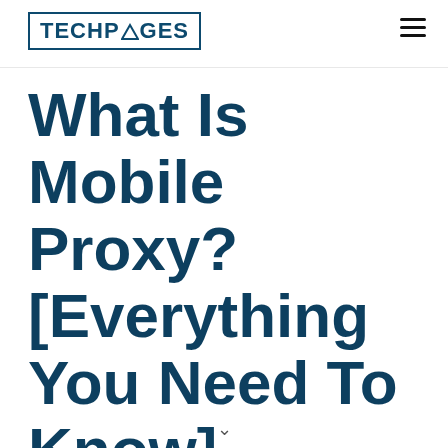TECHPAGES
What Is Mobile Proxy? [Everything You Need To Know]